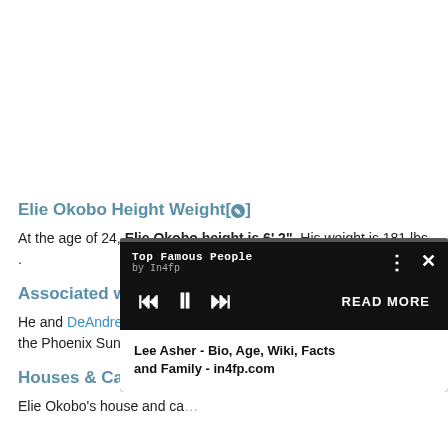Elie Okobo Height Weight[✎]
At the age of 24, Elie Okobo height is 6' 2". His weight is 181 lbs .
Associated with[✎]
He and DeAndre Ayton were both selected by the Phoenix Suns.
Houses & Cars & Luxury...
Elie Okobo's house and ca...
[Figure (screenshot): A video/audio playlist popup overlay from 'Top Famous People by In4fp' with player controls (skip back, pause, skip forward) and a 'READ MORE' button, with a card showing 'Lee Asher - Bio, Age, Wiki, Facts and Family - in4fp.com']